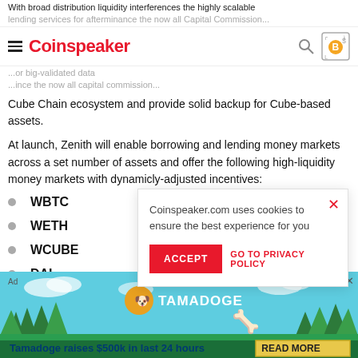With broad distribution liquidity interferences the highly scalable lending services for afterminance the new all Capital Commission...
Coinspeaker
Cube Chain ecosystem and provide solid backup for Cube-based assets.
At launch, Zenith will enable borrowing and lending money markets across a set number of assets and offer the following high-liquidity money markets with dynamicly-adjusted incentives:
WBTC
WETH
WCUBE
DAI
USDC
Coinspeaker.com uses cookies to ensure the best experience for you
[Figure (screenshot): Ad banner for Tamadoge showing 'Tamadoge raises $500k in last 24 hours' with READ MORE button]